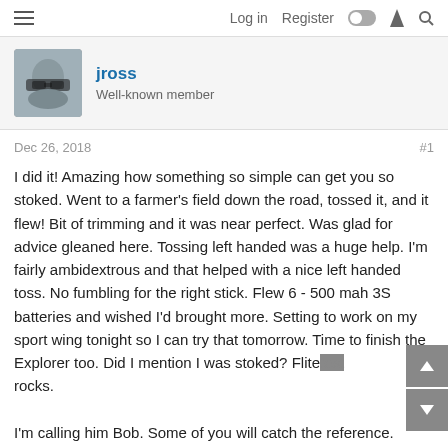Log in  Register
jross
Well-known member
Dec 26, 2018   #1
I did it! Amazing how something so simple can get you so stoked. Went to a farmer's field down the road, tossed it, and it flew! Bit of trimming and it was near perfect. Was glad for advice gleaned here. Tossing left handed was a huge help. I'm fairly ambidextrous and that helped with a nice left handed toss. No fumbling for the right stick. Flew 6 - 500 mah 3S batteries and wished I'd brought more. Setting to work on my sport wing tonight so I can try that tomorrow. Time to finish the Explorer too. Did I mention I was stoked? Flitetest rocks.

I'm calling him Bob. Some of you will catch the reference.